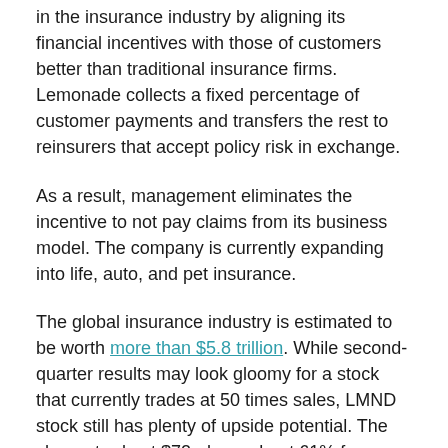in the insurance industry by aligning its financial incentives with those of customers better than traditional insurance firms. Lemonade collects a fixed percentage of customer payments and transfers the rest to reinsurers that accept policy risk in exchange.
As a result, management eliminates the incentive to not pay claims from its business model. The company is currently expanding into life, auto, and pet insurance.
The global insurance industry is estimated to be worth more than $5.8 trillion. While second-quarter results may look gloomy for a stock that currently trades at 50 times sales, LMND stock still has plenty of upside potential. The shares trade at $72, down about 61% from their record high in mid-January.